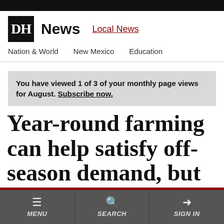DH News — Local News | Nation & World | New Mexico | Education
You have viewed 1 of 3 of your monthly page views for August. Subscribe now.
Year-round farming can help satisfy off-season demand, but
MENU | SEARCH | SIGN IN